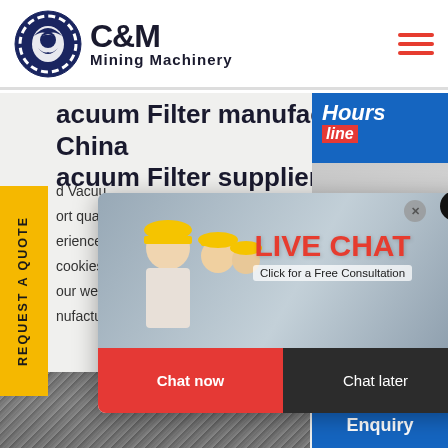[Figure (logo): C&M Mining Machinery logo with eagle/gear emblem in dark blue circle, bold black text C&M above Mining Machinery]
Vacuum Filter manufacturers, China Vacuum Filter suppliers
Vacuum Filter ... export quality ... experience ... cookies to give you the best p... our website. 1,428 Vacuum Filter manufacturers.
[Figure (photo): Live chat popup overlay showing workers in hard hats, LIVE CHAT text in red, Click for a Free Consultation, Chat now and Chat later buttons. Right side shows customer service woman with headset. Bottom right shows Click to Chat and Enquiry panels.]
[Figure (photo): Bottom photo strip showing industrial building/machinery exterior in grayscale]
REQUEST A QUOTE